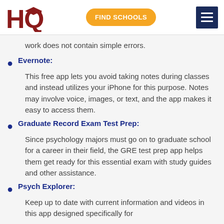HQ | FIND SCHOOLS
work does not contain simple errors.
Evernote: This free app lets you avoid taking notes during classes and instead utilizes your iPhone for this purpose. Notes may involve voice, images, or text, and the app makes it easy to access them.
Graduate Record Exam Test Prep: Since psychology majors must go on to graduate school for a career in their field, the GRE test prep app helps them get ready for this essential exam with study guides and other assistance.
Psych Explorer: Keep up to date with current information and videos in this app designed specifically for students. It is always up to date for...